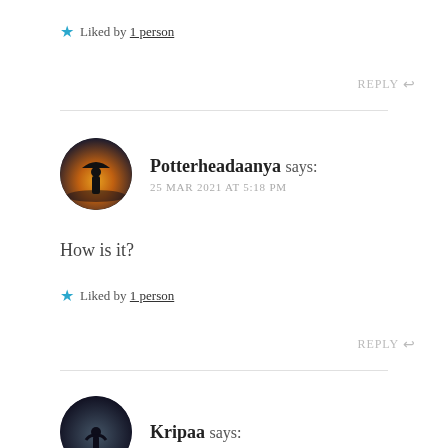★ Liked by 1 person
REPLY ↩
Potterheadaanya says: 25 MAR 2021 AT 5:18 PM
How is it?
★ Liked by 1 person
REPLY ↩
Kripaa says: